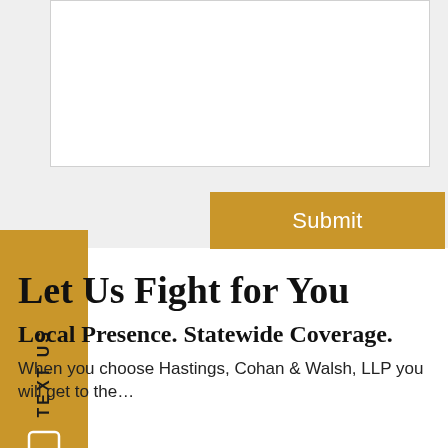[Figure (screenshot): Form area with a white text input box on a light gray background, and a gold/yellow Submit button below it]
[Figure (other): Vertical gold tab on the left side with 'TEXT US' text rotated vertically and a phone/mobile icon below]
Let Us Fight for You
Local Presence. Statewide Coverage.
When you choose Hastings, Cohan & Walsh, LLP you will get to the...